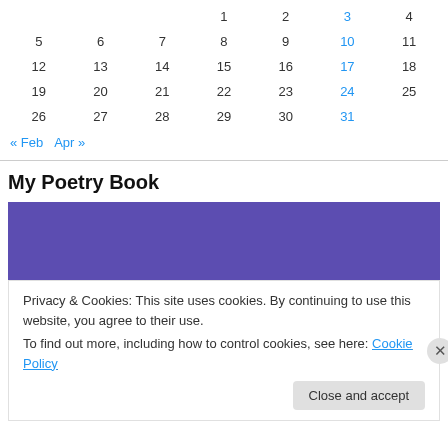|  |  |  | 1 | 2 | 3 | 4 |
| 5 | 6 | 7 | 8 | 9 | 10 | 11 |
| 12 | 13 | 14 | 15 | 16 | 17 | 18 |
| 19 | 20 | 21 | 22 | 23 | 24 | 25 |
| 26 | 27 | 28 | 29 | 30 | 31 |  |
« Feb   Apr »
My Poetry Book
[Figure (illustration): Purple/violet colored banner image block]
Privacy & Cookies: This site uses cookies. By continuing to use this website, you agree to their use.
To find out more, including how to control cookies, see here: Cookie Policy